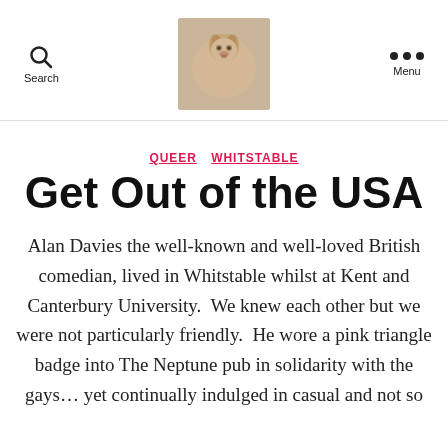Search | [logo image] | Menu
QUEER  WHITSTABLE
Get Out of the USA
Alan Davies the well-known and well-loved British comedian, lived in Whitstable whilst at Kent and Canterbury University.  We knew each other but we were not particularly friendly.  He wore a pink triangle badge into The Neptune pub in solidarity with the gays... yet continually indulged in casual and not so